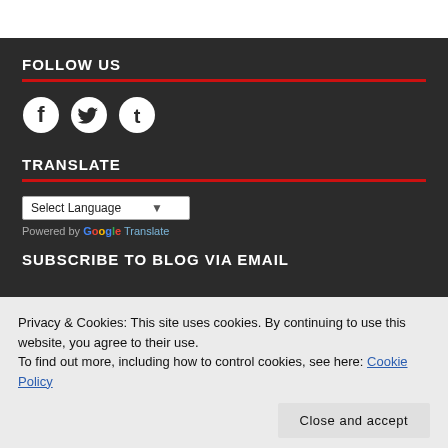FOLLOW US
[Figure (illustration): Social media icons: Facebook, Twitter, Tumblr]
TRANSLATE
Select Language
Powered by Google Translate
SUBSCRIBE TO BLOG VIA EMAIL
Privacy & Cookies: This site uses cookies. By continuing to use this website, you agree to their use.
To find out more, including how to control cookies, see here: Cookie Policy
Close and accept